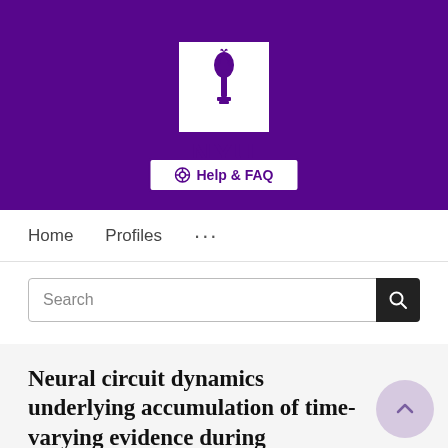[Figure (logo): NYU (New York University) logo with torch icon on white background, set against a purple banner header]
Help & FAQ
Home   Profiles   ...
Search
Neural circuit dynamics underlying accumulation of time-varying evidence during perceptual decision making